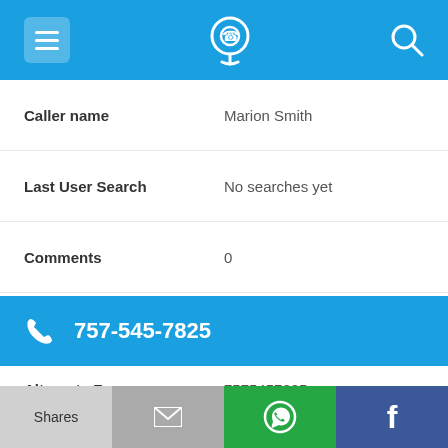[Figure (screenshot): Blue top navigation bar with hamburger menu icon on left, phone/location pin icon in center, and search icon on right]
| Caller name | Marion Smith |
| Last User Search | No searches yet |
| Comments | 0 |
[Figure (infographic): Blue banner with phone icon and number 757-545-7825]
| Alternate Form | 7575457825 |
| Caller name | L. J Smithson |
| Last User Search | No searches yet |
[Figure (screenshot): Bottom navigation bar with four sections: Shares (light gray), email icon (gray), WhatsApp icon (green), Facebook icon (dark blue)]